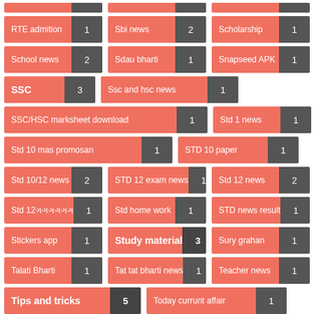RTE admition 1
Sbi news 2
Scholarship 1
School news 2
Sdau bharti 1
Snapseed APK 1
SSC 3
Ssc and hsc news 1
SSC/HSC marksheet download 1
Std 1 news 1
Std 10 mas promosan 1
STD 10 paper 1
Std 10/12 news 2
STD 12 exam news 1
Std 12 news 2
Std 12 પ્રવેશ 1
Std home work 1
STD news result 1
Stickers app 1
Study material 3
Sury grahan 1
Talati Bharti 1
Tat tat bharti news 1
Teacher news 1
Tips and tricks 5
Today currunt affair 1